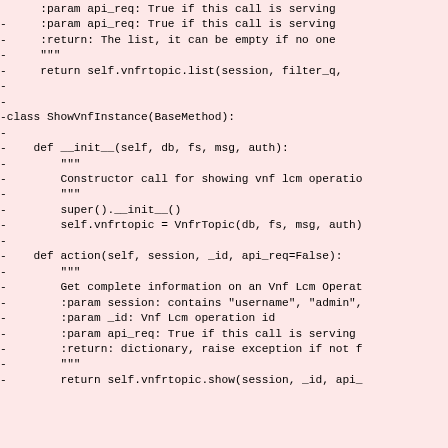- :param api_req: True if this call is serving
- :return: The list, it can be empty if no one
- """
- return self.vnfrtopic.list(session, filter_q,
-
-
-class ShowVnfInstance(BaseMethod):
-
- def __init__(self, db, fs, msg, auth):
- """
- Constructor call for showing vnf lcm operatio
- """
- super().__init__()
- self.vnfrtopic = VnfrTopic(db, fs, msg, auth)
-
- def action(self, session, _id, api_req=False):
- """
- Get complete information on an Vnf Lcm Operat
- :param session: contains "username", "admin",
- :param _id: Vnf Lcm operation id
- :param api_req: True if this call is serving
- :return: dictionary, raise exception if not f
- """
- return self.vnfrtopic.show(session, _id, api_